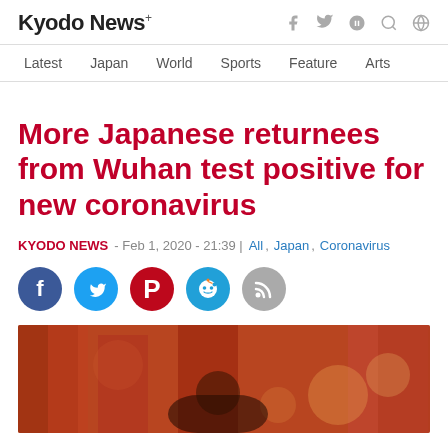Kyodo News+
Latest  Japan  World  Sports  Feature  Arts
More Japanese returnees from Wuhan test positive for new coronavirus
KYODO NEWS - Feb 1, 2020 - 21:39 | All, Japan, Coronavirus
[Figure (illustration): Social sharing icons: Facebook, Twitter, Pinterest, Reddit, RSS]
[Figure (photo): Blurred photograph showing red pillars and a Japanese temple/shrine setting, with a person partially visible at the bottom center]